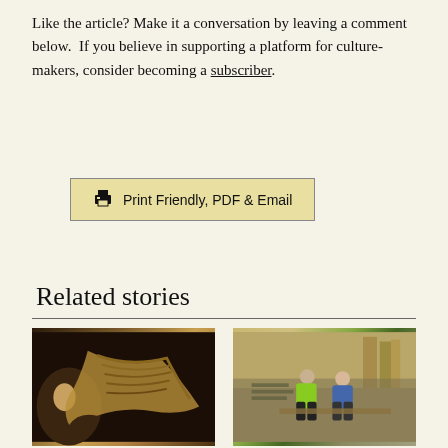Like the article? Make it a conversation by leaving a comment below. If you believe in supporting a platform for culture-makers, consider becoming a subscriber.
[Figure (other): Print Friendly, PDF & Email button with printer icon, styled with a yellow-beige background and border]
Related stories
[Figure (photo): Photo of a woman with a large woven basket or canoe-like object in a dark background]
[Figure (photo): Photo of two workers, one in a high-visibility yellow jacket, working in a timber workshop]